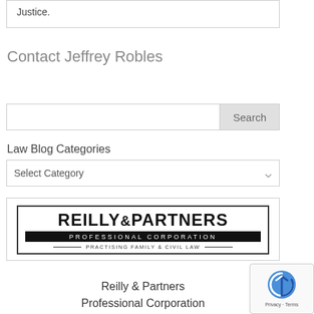Justice.
Contact Jeffrey Robles
[Figure (screenshot): Search input field with Search button on the right]
Law Blog Categories
[Figure (screenshot): Dropdown select box labeled Select Category]
[Figure (logo): Reilly & Partners Professional Corporation logo — Practising Family & Civil Law]
Reilly & Partners
Professional Corporation